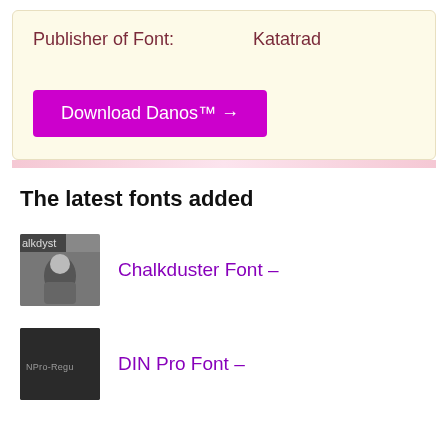Publisher of Font:    Katatrad
Download Danos™ →
The latest fonts added
Chalkduster Font –
DIN Pro Font –